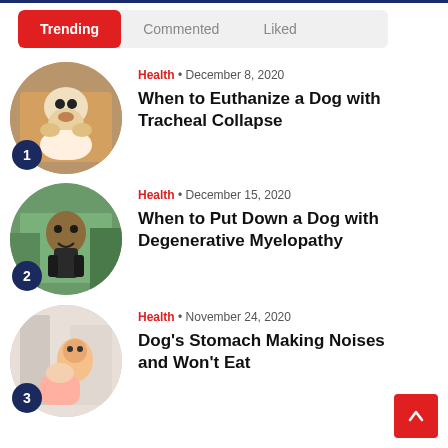Trending | Commented | Liked
[Figure (photo): Circular photo of a pug dog standing on autumn leaves]
Health • December 8, 2020
When to Euthanize a Dog with Tracheal Collapse
[Figure (photo): Circular photo of a German Shepherd dog outdoors]
Health • December 15, 2020
When to Put Down a Dog with Degenerative Myelopathy
[Figure (photo): Circular photo of a person holding a dog indoors]
Health • November 24, 2020
Dog's Stomach Making Noises and Won't Eat